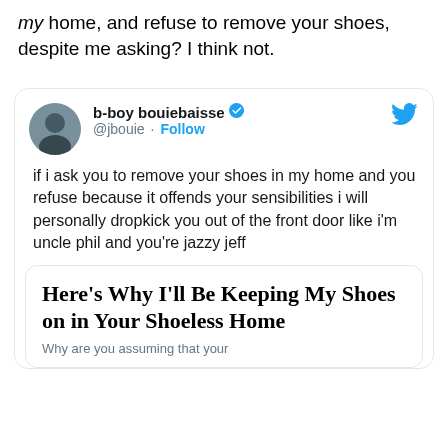my home, and refuse to remove your shoes, despite me asking? I think not.
[Figure (screenshot): Tweet from @jbouie (b-boy bouiebaisse, verified) reading: 'if i ask you to remove your shoes in my home and you refuse because it offends your sensibilities i will personally dropkick you out of the front door like i'm uncle phil and you're jazzy jeff', with a nested article card titled 'Here's Why I'll Be Keeping My Shoes on in Your Shoeless Home' and subtitle 'Why are you assuming that your']